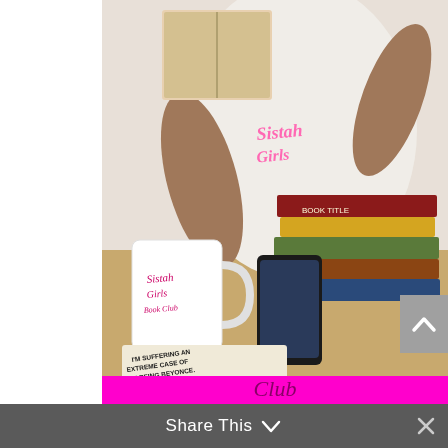[Figure (photo): A woman sitting at a desk reading a book, surrounded by stacked books, with a 'Sistah Girls Book Club' mug and a tote bag that reads 'I'm suffering an extreme case of not being Beyonce']
Hey Sistah Girl, join our reading squad!
Join our mailing list to receive the latest news and updates from the Sistah Girls Book Club
Share This ˅